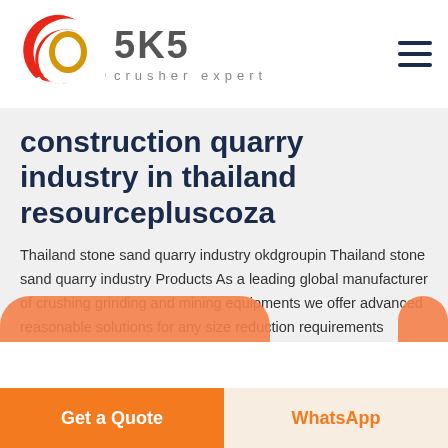[Figure (logo): SKS Crusher Expert logo with red swirl emblem and SKS text with 'crusher expert' tagline]
construction quarry industry in thailand resourcepluscoza
Thailand stone sand quarry industry okdgroupin Thailand stone sand quarry industry Products As a leading global manufacturer of crushing grinding and mining equipments we offer advanced reasonable solutions for any size reduction requirements including Thailand stone sand quarry industry quarry aggregate and different kinds of minerals
Get a Quote
WhatsApp